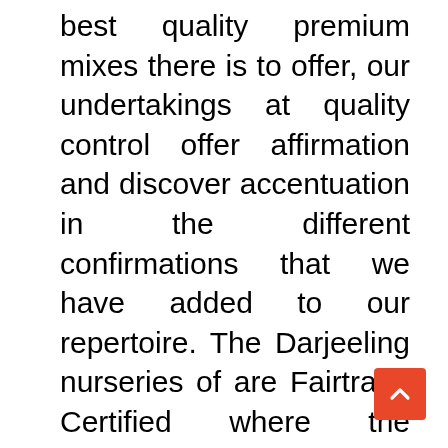best quality premium mixes there is to offer, our undertakings at quality control offer affirmation and discover accentuation in the different confirmations that we have added to our repertoire. The Darjeeling nurseries of are Fairtrade Certified where the makers share in the advantages of exchange with the specialists/pluckers. The nurseries are confirmed under the Rainforest Alliance, The Japanese Agricultural Standards (norms for the agribusiness business kept up with by the Japanese Government), The Ethical Tea Partnership (meaning to w on the supportability of the tea business),